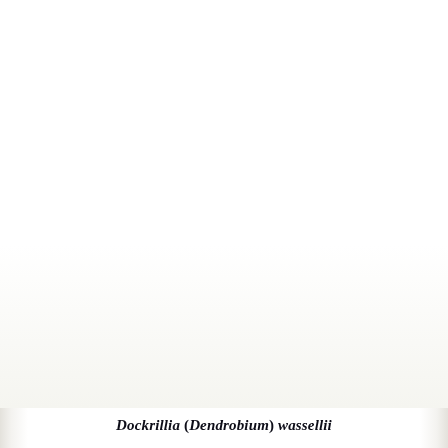[Figure (photo): A mostly white/blank page scan with slight shadowing on the left and right edges, representing a botanical specimen page. The main content area is largely white/washed out.]
Dockrillia (Dendrobium) wassellii